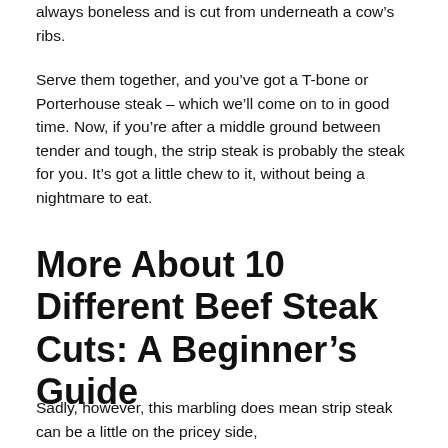always boneless and is cut from underneath a cow’s ribs.
Serve them together, and you’ve got a T-bone or Porterhouse steak – which we’ll come on to in good time. Now, if you’re after a middle ground between tender and tough, the strip steak is probably the steak for you. It’s got a little chew to it, without being a nightmare to eat.
More About 10 Different Beef Steak Cuts: A Beginner’s Guide
Sadly, however, this marbling does mean strip steak can be a little on the pricey side, and it’s debatable whether that cost premium is